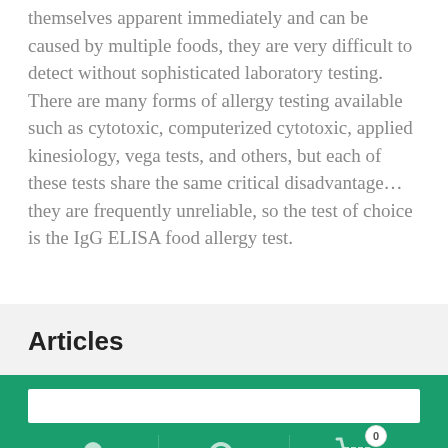themselves apparent immediately and can be caused by multiple foods, they are very difficult to detect without sophisticated laboratory testing. There are many forms of allergy testing available such as cytotoxic, computerized cytotoxic, applied kinesiology, vega tests, and others, but each of these tests share the same critical disadvantage... they are frequently unreliable, so the test of choice is the IgG ELISA food allergy test.
Articles
[Figure (screenshot): Green navigation bar with a search input box and three icons: user/account, search magnifier, and shopping cart with badge showing 0]